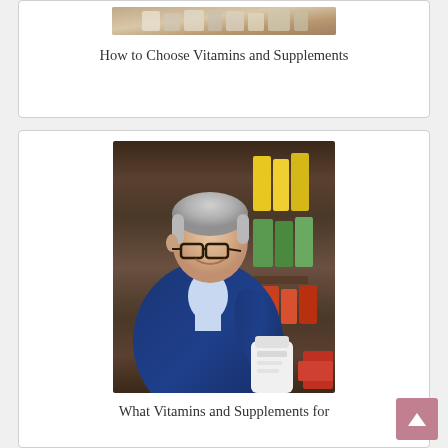[Figure (photo): Partial view of supplement/vitamin bottles on a shelf or counter, top portion cut off — top card image]
How to Choose Vitamins and Supplements
[Figure (photo): Middle-aged man with gray hair and glasses wearing a blue blazer, smiling and reading the label on a white supplement bottle in a health store with shelves of colorful products in the background]
What Vitamins and Supplements for